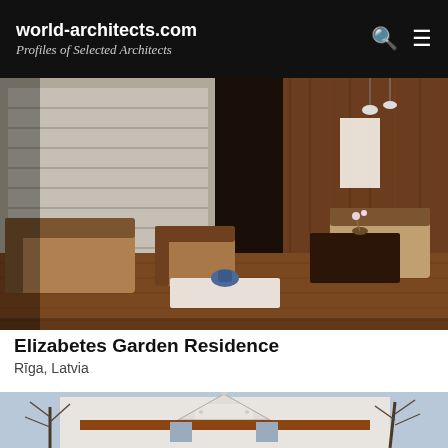world-architects.com — Profiles of Selected Architects
[Figure (photo): Interior render of a modern living room with brown sofas, wooden flooring, large window with blinds, wooden accent wall, pendant lights, and a white coffee table with a blue vase.]
Elizabetes Garden Residence
Rīga, Latvia
[Figure (photo): Exterior photo of a white neo-classical residential building with triangular pediment dormer, red tile roof, tall windows, and bare winter trees against a blue sky.]